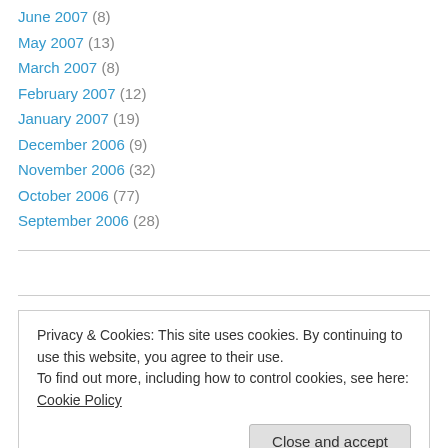June 2007 (8)
May 2007 (13)
March 2007 (8)
February 2007 (12)
January 2007 (19)
December 2006 (9)
November 2006 (32)
October 2006 (77)
September 2006 (28)
Privacy & Cookies: This site uses cookies. By continuing to use this website, you agree to their use. To find out more, including how to control cookies, see here: Cookie Policy
Close and accept